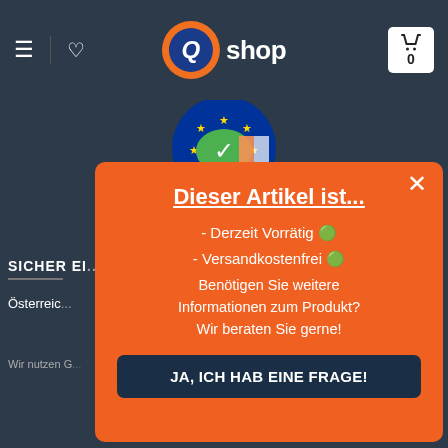[Figure (screenshot): Q-shop website header/navbar with hamburger menu, heart icon, Q-shop logo (orange circle with blue Q letter), and shopping cart with 0 items, on dark navy background]
[Figure (logo): Partial EU/certification badge logo with stars and green/white/yellow checkmark design]
SICHER EI...
Österreic...
Wir nutzen G...
Dieser Artikel ist...
- Derzeit Vorrätig 🟢
- Versandkostenfrei 🟢
Benötigen Sie weitere Informationen zum Produkt? Wir beraten Sie gerne!
JA, ICH HAB EINE FRAGE!